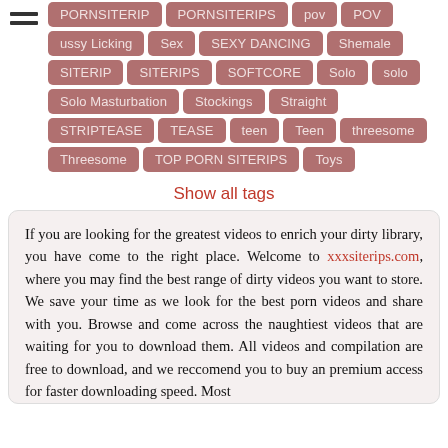PORNSITERIP | PORNSITERIPS | pov | POV
ussy Licking | Sex | SEXY DANCING | Shemale
SITERIP | SITERIPS | SOFTCORE | Solo | solo
Solo Masturbation | Stockings | Straight
STRIPTEASE | TEASE | teen | Teen | threesome
Threesome | TOP PORN SITERIPS | Toys
Show all tags
If you are looking for the greatest videos to enrich your dirty library, you have come to the right place. Welcome to xxxsiterips.com, where you may find the best range of dirty videos you want to store. We save your time as we look for the best porn videos and share with you. Browse and come across the naughtiest videos that are waiting for you to download them. All videos and compilation are free to download, and we reccomend you to buy an premium access for faster downloading speed. Most